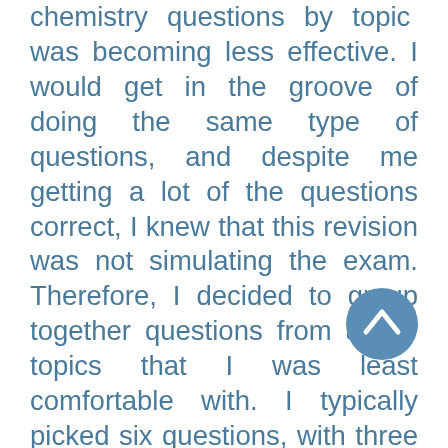chemistry questions by topic was becoming less effective. I would get in the groove of doing the same type of questions, and despite me getting a lot of the questions correct, I knew that this revision was not simulating the exam. Therefore, I decided to group together questions from a few topics that I was least comfortable with. I typically picked six questions, with three questions from unit 3 and three questions from unit 4. I made this divide to ensure that I was actively targeting different areas of the course, and this worked particularly well for chemistry, as the topics in the two units are quite different. I still made sure that I was prioritising questions from topics